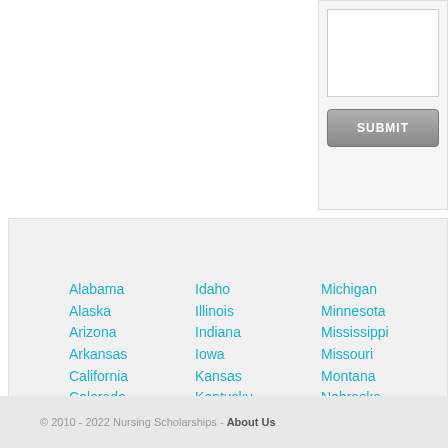[Figure (screenshot): Submit button UI element with input field and gray SUBMIT button]
Alabama
Alaska
Arizona
Arkansas
California
Colorado
Connecticut
Delaware
Florida
Georgia
Hawaii
Idaho
Illinois
Indiana
Iowa
Kansas
Kentucky
Louisiana
Maine
Maryland
Massachusetts
Michigan
Minnesota
Mississippi
Missouri
Montana
Nebraska
Nevada
New Hampshire
New Jersey
New Mexico
© 2010 - 2022 Nursing Scholarships - About Us